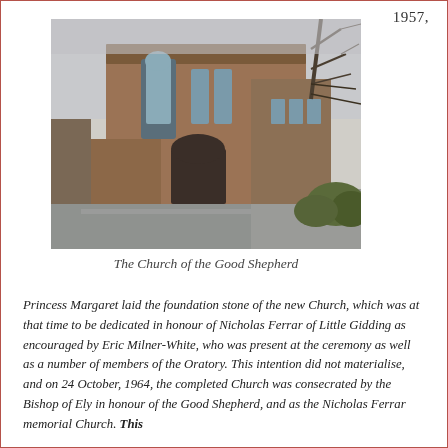1957,
[Figure (photo): Exterior photograph of The Church of the Good Shepherd, a brick gothic-style church building with tall arched windows, taken on an overcast day with bare trees visible on the right.]
The Church of the Good Shepherd
Princess Margaret laid the foundation stone of the new Church, which was at that time to be dedicated in honour of Nicholas Ferrar of Little Gidding as encouraged by Eric Milner-White, who was present at the ceremony as well as a number of members of the Oratory. This intention did not materialise, and on 24 October, 1964, the completed Church was consecrated by the Bishop of Ely in honour of the Good Shepherd, and as the Nicholas Ferrar memorial Church. This